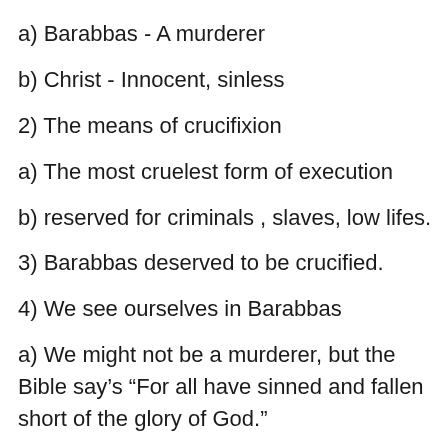a) Barabbas - A murderer
b) Christ - Innocent, sinless
2) The means of crucifixion
a) The most cruelest form of execution
b) reserved for criminals , slaves, low lifes.
3) Barabbas deserved to be crucified.
4) We see ourselves in Barabbas
a) We might not be a murderer, but the Bible say’s “For all have sinned and fallen short of the glory of God.”
b) We deserve death. - “For the wages of sin is